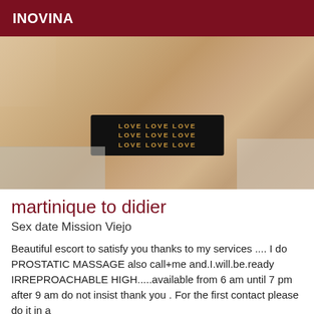INOVINA
[Figure (photo): Photo of a person wearing a black bralette/bikini top with 'LOVE' text branding, taken from above showing torso and tiled floor in background]
martinique to didier
Sex date Mission Viejo
Beautiful escort to satisfy you thanks to my services .... I do PROSTATIC MASSAGE also call+me and.I.will.be.ready IRREPROACHABLE HIGH.....available from 6 am until 7 pm after 9 am do not insist thank you . For the first contact please do it in a